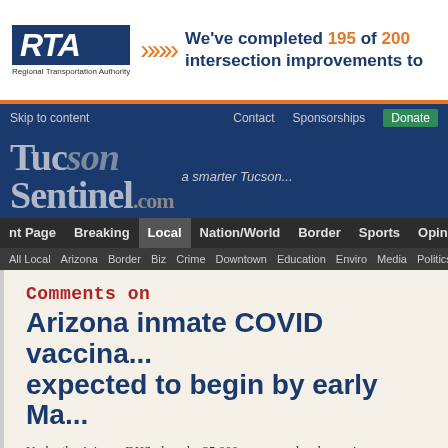[Figure (screenshot): RTA (Regional Transportation Authority) advertisement banner. Dark blue RTA logo box with italic bold text, orange double arrow chevron, text reading: We've completed 195 of 200 intersection improvements to...]
Skip to content   Contact   Sponsorships   Donate
[Figure (logo): TucsonSentinel.com masthead logo in old English style font on dark blue background, with tagline 'a smarter Tucson...']
nt Page   Breaking   Local   Nation/World   Border   Sports   Opinion
All Local   Arizona   Border   Biz   Crime   Downtown   Education   Enviro   Media   Politics & Go...
Comments on
Arizona inmate COVID vaccina... expected to begin by early Ma...
Under the Arizona DHS plan, the 35,000 or so people who are inca... system are part of Phase 1C of the state's vaccination plan. Correct... workers by the state, will be vaccinated as part of Phase 1B.... Read...